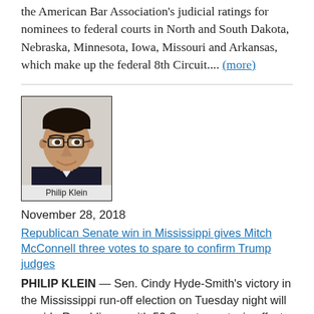the American Bar Association's judicial ratings for nominees to federal courts in North and South Dakota, Nebraska, Minnesota, Iowa, Missouri and Arkansas, which make up the federal 8th Circuit.... (more)
[Figure (photo): Headshot photo of Philip Klein, a man with dark hair and glasses wearing a dark suit, smiling. Caption reads: Philip Klein.]
November 28, 2018
Republican Senate win in Mississippi gives Mitch McConnell three votes to spare to confirm Trump judges
PHILIP KLEIN — Sen. Cindy Hyde-Smith's victory in the Mississippi run-off election on Tuesday night will provide Republicans with 53 Senate seats, in effect giving Senate Majority Leader Mitch McConnell, R-Ky., three votes to spare